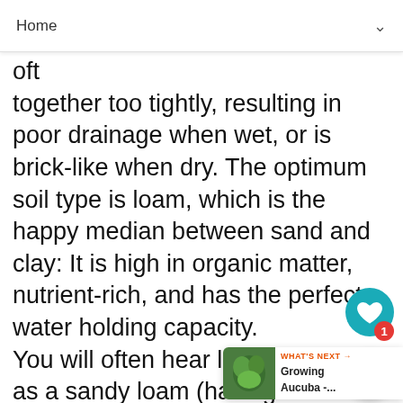Home
together too tightly, resulting in poor drainage when wet, or is brick-like when dry. The optimum soil type is loam, which is the happy median between sand and clay: It is high in organic matter, nutrient-rich, and has the perfect water holding capacity. You will often hear loam referred to as a sandy loam (having more sand, yet still plenty of organic matter) or a clay loam (heavier on the clay, yet workable with good drainage.) The addition of organic matter to either sand or clay will result in a loamy soil. Still not sure if your soil is a sand, clay, or loam? Try this simple test. Squeeze a handfull of slightly moist, wet, soil in your hand. If it forms a tight ball and